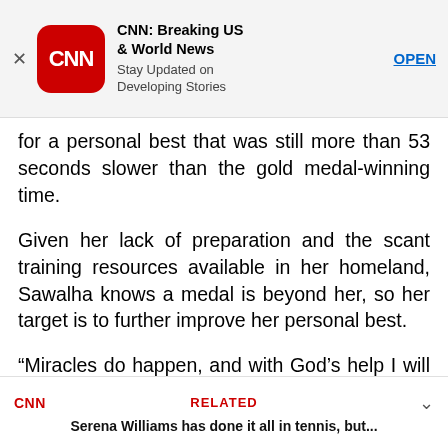[Figure (screenshot): CNN app advertisement banner with red CNN logo icon, app name 'CNN: Breaking US & World News', subtitle 'Stay Updated on Developing Stories', and an OPEN button. A close (X) button is on the left.]
for a personal best that was still more than 53 seconds slower than the gold medal-winning time.
Given her lack of preparation and the scant training resources available in her homeland, Sawalha knows a medal is beyond her, so her target is to further improve her personal best.
“Miracles do happen, and with God’s help I will hopefully get a good result,” she said. “Since they selected me for the Olympics, my running time has gone from four minutes to just under three, so I’ve seen a big improvement.”
CNN RELATED
Serena Williams has done it all in tennis, but...